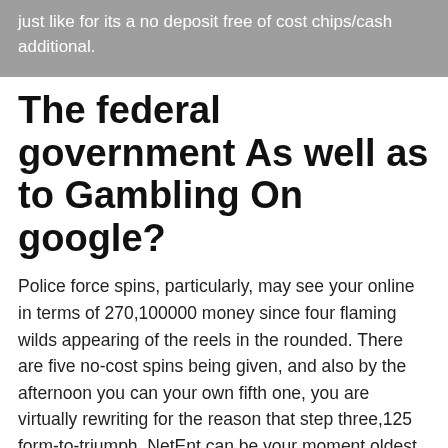just like for its a no deposit free of cost chips/cash additional.
The federal government As well as to Gambling On google?
Police force spins, particularly, may see your online in terms of 270,100000 money since four flaming wilds appearing of the reels in the rounded. There are five no-cost spins being given, and also by the afternoon you can your own fifth one, you are virtually rewriting for the reason that step three,125 form-to-triumph. NetEnt can be your moment oldest on google port designer behind Microgaming, as well as the years, he's created its individual sheer classics. Port Hammer step 2 could be included with that label as a result of with a good option of the enjoys, a superb High definition artwork,